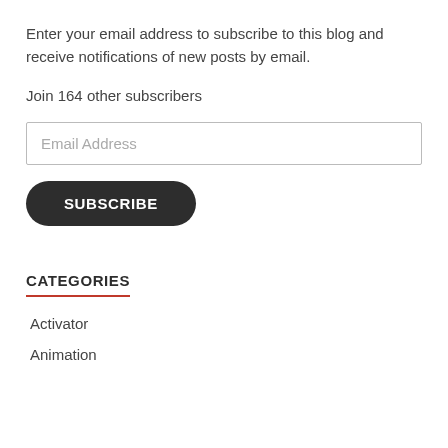Enter your email address to subscribe to this blog and receive notifications of new posts by email.
Join 164 other subscribers
Email Address
SUBSCRIBE
CATEGORIES
Activator
Animation